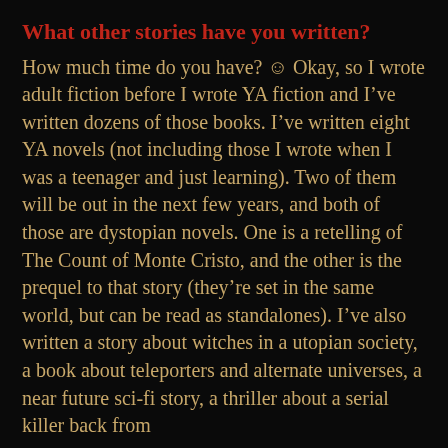What other stories have you written?
How much time do you have? ☺ Okay, so I wrote adult fiction before I wrote YA fiction and I’ve written dozens of those books. I’ve written eight YA novels (not including those I wrote when I was a teenager and just learning). Two of them will be out in the next few years, and both of those are dystopian novels. One is a retelling of The Count of Monte Cristo, and the other is the prequel to that story (they’re set in the same world, but can be read as standalones). I’ve also written a story about witches in a utopian society, a book about teleporters and alternate universes, a near future sci-fi story, a thriller about a serial killer back from